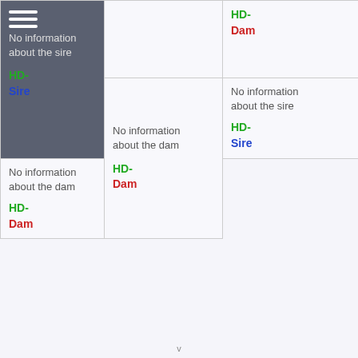| Col1 | Col2 | Col3 |
| --- | --- | --- |
| No information about the sire
HD-
Sire |  | HD-
Dam |
|  | No information about the dam
HD-
Dam | No information about the sire
HD-
Sire |
|  |  | No information about the dam
HD-
Dam |
v